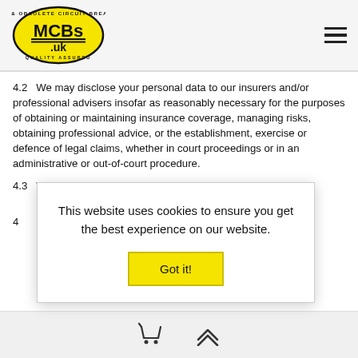[Figure (logo): MCBs.uk logo - yellow oval with black text 'MCBs.uk' and 'USED & OBSOLETE CIRCUIT BREAKERS' and 'QUALITY ASSURED']
4.2 We may disclose your personal data to our insurers and/or professional advisers insofar as reasonably necessary for the purposes of obtaining or maintaining insurance coverage, managing risks, obtaining professional advice, or the establishment, exercise or defence of legal claims, whether in court proceedings or in an administrative or out-of-court procedure.
4.3 We may disclose personal data to our suppliers or subcontractors insofar as reasonably necessary for [partially hidden]
4.4 [partially hidden by cookie banner] ...and suppliers, subcontractors, personal data [partially hidden] ...nt ...ants
This website uses cookies to ensure you get the best experience on our website.
Got it!